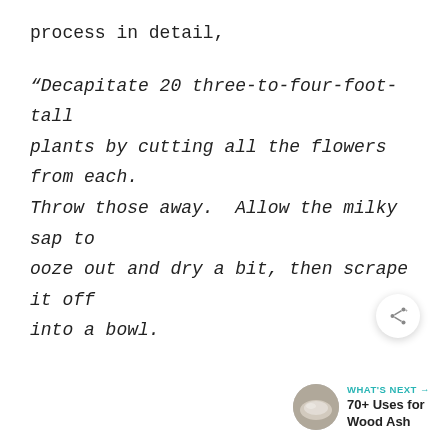process in detail,

“Decapitate 20 three-to-four-foot-tall plants by cutting all the flowers from each. Throw those away.  Allow the milky sap to ooze out and dry a bit, then scrape it off into a bowl.
[Figure (other): Share button (circular white button with share icon)]
[Figure (other): What's Next widget with circular thumbnail image of wood ash and text '70+ Uses for Wood Ash']